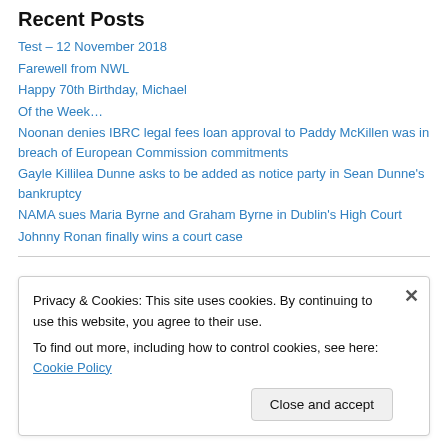Recent Posts
Test – 12 November 2018
Farewell from NWL
Happy 70th Birthday, Michael
Of the Week…
Noonan denies IBRC legal fees loan approval to Paddy McKillen was in breach of European Commission commitments
Gayle Killilea Dunne asks to be added as notice party in Sean Dunne's bankruptcy
NAMA sues Maria Byrne and Graham Byrne in Dublin's High Court
Johnny Ronan finally wins a court case
Privacy & Cookies: This site uses cookies. By continuing to use this website, you agree to their use.
To find out more, including how to control cookies, see here: Cookie Policy
Close and accept